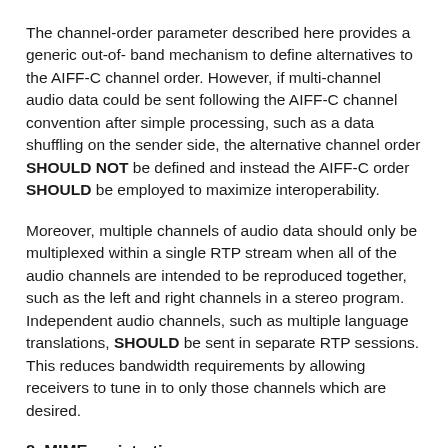The channel-order parameter described here provides a generic out-of- band mechanism to define alternatives to the AIFF-C channel order. However, if multi-channel audio data could be sent following the AIFF-C channel convention after simple processing, such as a data shuffling on the sender side, the alternative channel order SHOULD NOT be defined and instead the AIFF-C order SHOULD be employed to maximize interoperability.
Moreover, multiple channels of audio data should only be multiplexed within a single RTP stream when all of the audio channels are intended to be reproduced together, such as the left and right channels in a stereo program. Independent audio channels, such as multiple language translations, SHOULD be sent in separate RTP sessions. This reduces bandwidth requirements by allowing receivers to tune in to only those channels which are desired.
8. MIME registration